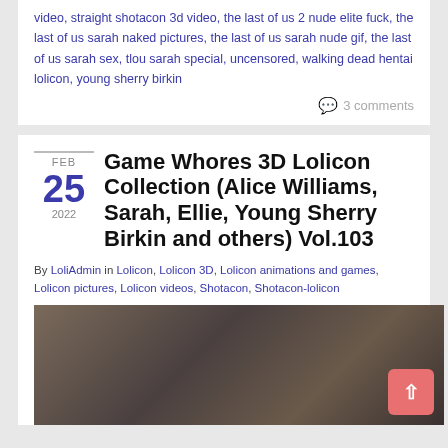video, straight shotacon 3d video, the last of us 2 nude elite fuck, the last of us sarah naked pictures, the last of us sarah nude gif, the last of us sarah sex, tlou sarah special, uncensored, walking dead hentai lolicon, young sherry birkin
3 comments
Game Whores 3D Lolicon Collection (Alice Williams, Sarah, Ellie, Young Sherry Birkin and others) Vol.103
FEB 25 2022
By LoliAdmin in Lolicon, Lolicon 3D, Lolicon animations and games, Lolicon pictures, Lolicon videos, Shotacon, Shotacon-lolicon
[Figure (photo): Dark indoor scene showing figures in a room]